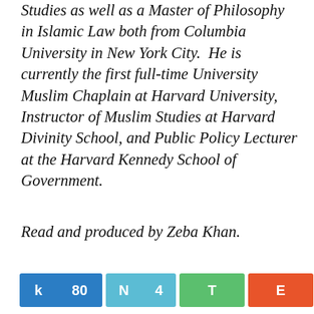Studies as well as a Master of Philosophy in Islamic Law both from Columbia University in New York City. He is currently the first full-time University Muslim Chaplain at Harvard University, Instructor of Muslim Studies at Harvard Divinity School, and Public Policy Lecturer at the Harvard Kennedy School of Government.
Read and produced by Zeba Khan.
[Figure (infographic): Social sharing buttons row: k 80 (blue), N 4 (light blue), T (green), E (orange-red), G 84 SHARES]
Keep supporting MuslimMatters for the sake of Allah